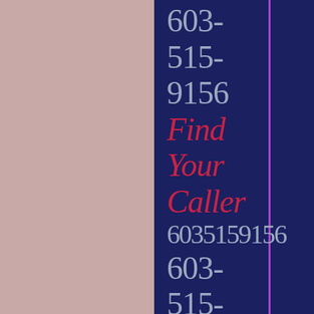603-515-9156
Find Your Caller
6035159156
603-515-9148
Find Your Caller
6035159148
603-515-